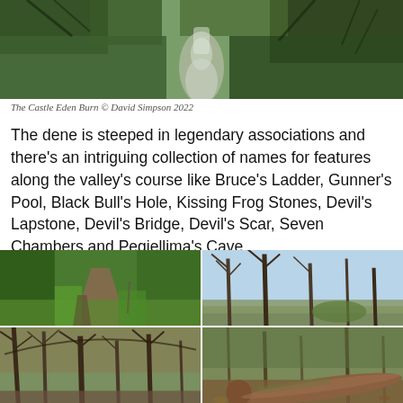[Figure (photo): Aerial or elevated view of the Castle Eden Burn — a stream flowing through a wooded dene with green ivy-covered banks and bare winter trees.]
The Castle Eden Burn © David Simpson 2022
The dene is steeped in legendary associations and there's an intriguing collection of names for features along the valley's course like Bruce's Ladder, Gunner's Pool, Black Bull's Hole, Kissing Frog Stones, Devil's Lapstone, Devil's Bridge, Devil's Scar, Seven Chambers and Pegjellima's Cave.
[Figure (photo): Four photos in a 2x2 grid showing the Castle Eden Dene: top-left is a shaded woodland path with lush green undergrowth; top-right shows bare winter trees against a blue sky; bottom-left shows dense bare woodland trees; bottom-right shows a fallen log with woodland floor and trees.]